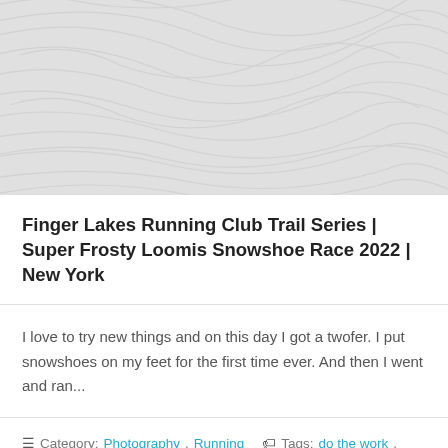[Figure (map): Topographic map background with light gray contour lines on a light gray background]
Finger Lakes Running Club Trail Series | Super Frosty Loomis Snowshoe Race 2022 | New York
I love to try new things and on this day I got a twofer. I put snowshoes on my feet for the first time ever. And then I went and ran...
≡ Category: Photography, Running  🏷 Tags: do the work, finger lakes running club, New York, photographer